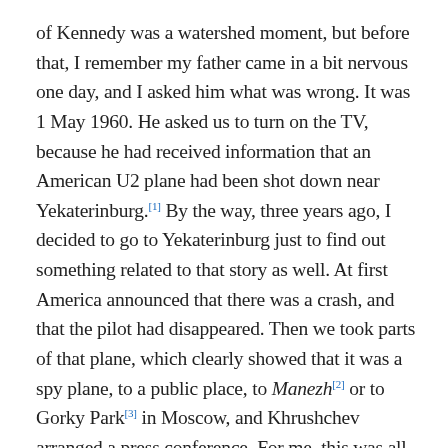of Kennedy was a watershed moment, but before that, I remember my father came in a bit nervous one day, and I asked him what was wrong. It was 1 May 1960. He asked us to turn on the TV, because he had received information that an American U2 plane had been shot down near Yekaterinburg.[1] By the way, three years ago, I decided to go to Yekaterinburg just to find out something related to that story as well. At first America announced that there was a crash, and that the pilot had disappeared. Then we took parts of that plane, which clearly showed that it was a spy plane, to a public place, to Manezh[2] or to Gorky Park[3] in Moscow, and Khrushchev arranged a press conference. For me, this was all an indication that